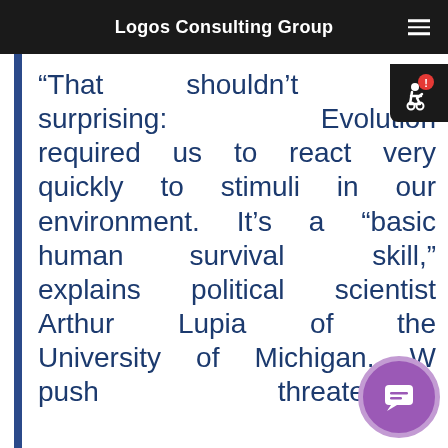Logos Consulting Group
“That shouldn’t be surprising: Evolution required us to react very quickly to stimuli in our environment. It’s a “basic human survival skill,” explains political scientist Arthur Lupia of the University of Michigan. W push threatening